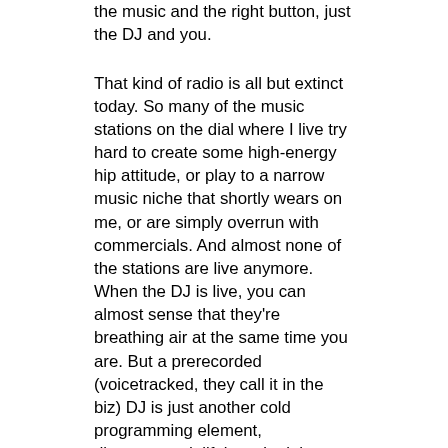the music and the right button, just the DJ and you.
That kind of radio is all but extinct today. So many of the music stations on the dial where I live try hard to create some high-energy hip attitude, or play to a narrow music niche that shortly wears on me, or are simply overrun with commercials. And almost none of the stations are live anymore. When the DJ is live, you can almost sense that they're breathing air at the same time you are. But a prerecorded (voicetracked, they call it in the biz) DJ is just another cold programming element, disconnected, lifeless. I might as well listen to Pandora or Spotify.